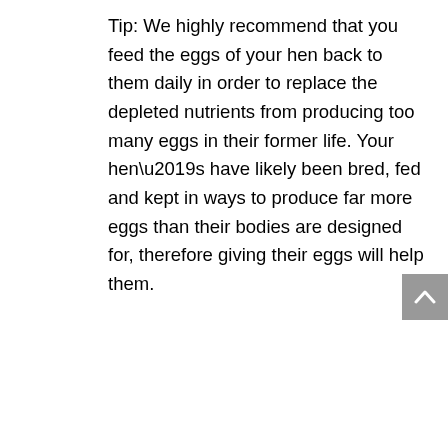Tip: We highly recommend that you feed the eggs of your hen back to them daily in order to replace the depleted nutrients from producing too many eggs in their former life. Your hen’s have likely been bred, fed and kept in ways to produce far more eggs than their bodies are designed for, therefore giving their eggs will help them.